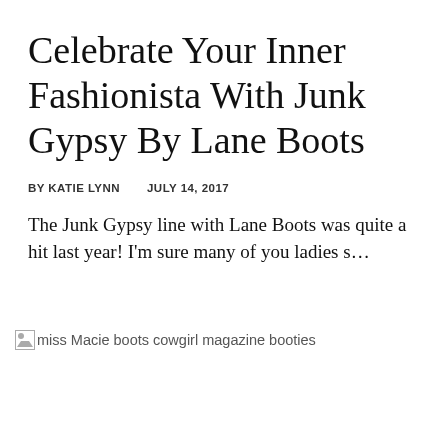Celebrate Your Inner Fashionista With Junk Gypsy By Lane Boots
BY KATIE LYNN   JULY 14, 2017
The Junk Gypsy line with Lane Boots was quite a hit last year! I'm sure many of you ladies s…
[Figure (photo): Broken image placeholder with alt text: miss Macie boots cowgirl magazine booties]